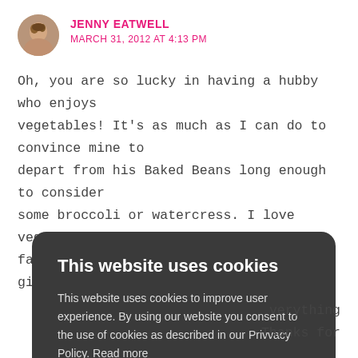JENNY EATWELL
MARCH 31, 2012 AT 4:13 PM
Oh, you are so lucky in having a hubby who enjoys vegetables! It’s as much as I can do to convince mine to depart from his Baked Beans long enough to consider some broccoli or watercress. I love veggies and would eat far more of them than we currently do, given half a
This website uses cookies

This website uses cookies to improve user experience. By using our website you consent to the use of cookies as described in our Privvacy Policy. Read more

ACCEPT ALL
verything
Thanks for